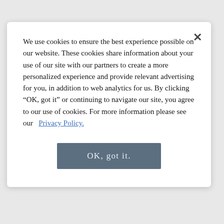We use cookies to ensure the best experience possible on our website. These cookies share information about your use of our site with our partners to create a more personalized experience and provide relevant advertising for you, in addition to web analytics for us. By clicking "OK, got it" or continuing to navigate our site, you agree to our use of cookies. For more information please see our Privacy Policy.
OK, got it.